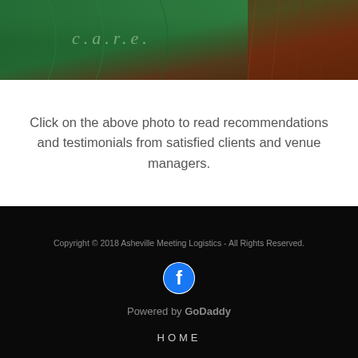[Figure (photo): Photo of a green banner/fabric with partial text visible, alongside a reddish-brown textured background]
Click on the above photo to read recommendations and testimonials from satisfied clients and venue managers.
Copyright © 2018 Asheville Meeting Logistics - All Rights Reserved.
[Figure (logo): Facebook circular icon (white F on dark circle)]
Powered by GoDaddy
HOME